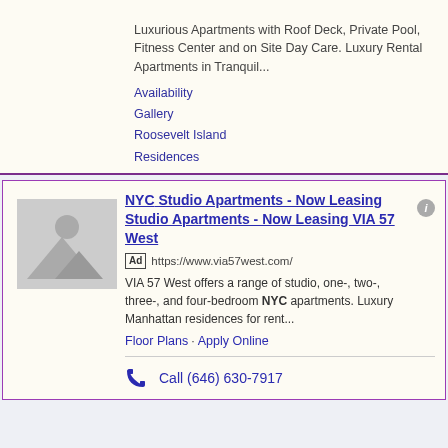Luxurious Apartments with Roof Deck, Private Pool, Fitness Center and on Site Day Care. Luxury Rental Apartments in Tranquil...
Availability
Gallery
Roosevelt Island
Residences
[Figure (illustration): Placeholder image with mountain/landscape silhouette icon in gray]
NYC Studio Apartments - Now Leasing Studio Apartments - Now Leasing VIA 57 West
Ad https://www.via57west.com/
VIA 57 West offers a range of studio, one-, two-, three-, and four-bedroom NYC apartments. Luxury Manhattan residences for rent...
Floor Plans · Apply Online
Call (646) 630-7917